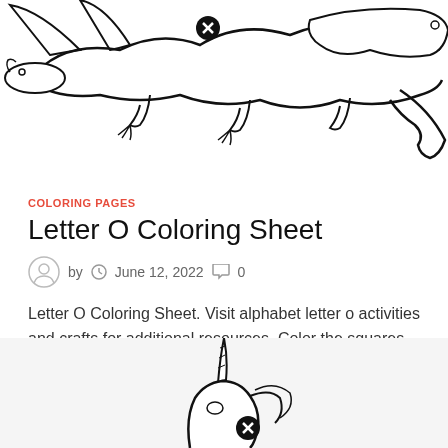[Figure (illustration): Partial view of a dragon or lizard-like creature coloring sheet illustration, black and white line art, with a small circular close/cancel icon overlay]
COLORING PAGES
Letter O Coloring Sheet
by  June 12, 2022  0
Letter O Coloring Sheet. Visit alphabet letter o activities and crafts for additional resources. Color the squares with the letter o coloring page. Letter o …
[Figure (illustration): Partial view of a unicorn coloring sheet illustration, black and white line art, cropped at bottom of page, with a small circular close/cancel icon overlay]